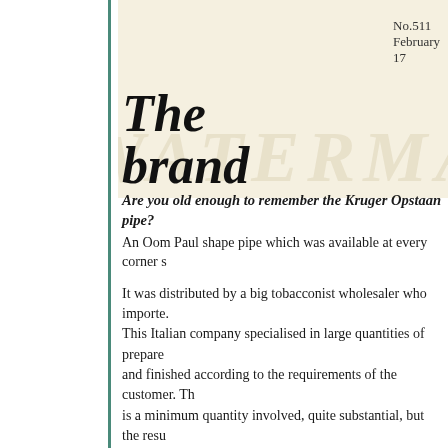No.511 February 17
The    brand
Are you old enough to remember the Kruger Opstaan pipe? An Oom Paul shape pipe which was available at every corner s
It was distributed by a big tobacconist wholesaler who importe. This Italian company specialised in large quantities of prepare and finished according to the requirements of the customer. Th is a minimum quantity involved, quite substantial, but the resu And the quality is excellent – we still have the occasional Kru A considerable percentage of the Private Label pipes we see in the company was recommended to us by an associate in the St
In 2005 we were fortunate to make contact with this Italian c brand was born in 2008.
When the Albanian factory making Lorenzo/Spitfire pipes clos substitute ranges at similar prices. We are really pleased with t bowl size Marca Medio pipes with 6mm filter option. They ha
Now we offer you the medium-large Marca Milano pipes w The smoking quality is as good as you have come to expect fr